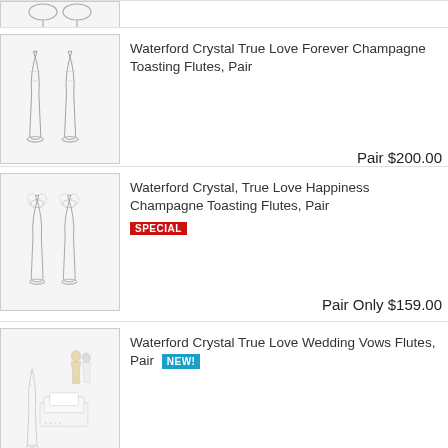[Figure (photo): Partial view of crystal champagne flutes (top cropped)]
[Figure (photo): Waterford Crystal True Love Forever Champagne Toasting Flutes pair]
Waterford Crystal True Love Forever Champagne Toasting Flutes, Pair
Pair $200.00
[Figure (photo): Waterford Crystal True Love Happiness Champagne Toasting Flutes pair]
Waterford Crystal, True Love Happiness Champagne Toasting Flutes, Pair
SPECIAL
Pair Only $159.00
[Figure (photo): Waterford Crystal True Love Wedding Vows Flutes pair with wedding cake topper]
Waterford Crystal True Love Wedding Vows Flutes, Pair NEW!
Pair $200.00
Back to Top